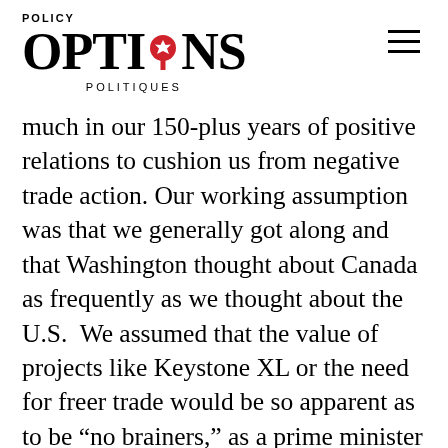POLICY OPTIONS POLITIQUES
much in our 150-plus years of positive relations to cushion us from negative trade action. Our working assumption was that we generally got along and that Washington thought about Canada as frequently as we thought about the U.S. We assumed that the value of projects like Keystone XL or the need for freer trade would be so apparent as to be “no brainers,” as a prime minister at one time noted. Our assumptions were proven wrong repeatedly.
So, where do we find ourselves in early 2021? Canadians are again optimistic about a new incoming president who we presume